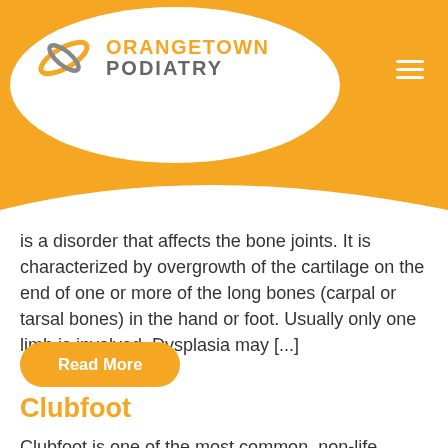[Figure (logo): Orangetown Podiatry logo with orange swirl icon and text on white oval bubble against orange header background]
is a disorder that affects the bone joints. It is characterized by overgrowth of the cartilage on the end of one or more of the long bones (carpal or tarsal bones) in the hand or foot. Usually only one limb is involved. Dysplasia may [...]
Read More
Clubfoot
Clubfoot is one of the most common, non-life